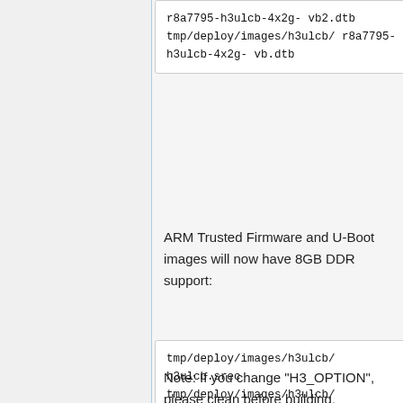[Figure (screenshot): Code block showing r8a7795-h3ulcb-4x2g-vb2.dtb tmp/deploy/images/h3ulcb/ r8a7795-h3ulcb-4x2g-vb.dtb]
ARM Trusted Firmware and U-Boot images will now have 8GB DDR support:
[Figure (screenshot): Code block showing tmp/deploy/images/h3ulcb/ h3ulcb.srec tmp/deploy/images/h3ulcb/ h3ulcb.srec tmp/deploy/images/h3ulcb/ tmp/deploy/images/h3ulcb/ boot-elf-h3ulcb.srec]
Note: If you change "H3_OPTION", please clean before building.